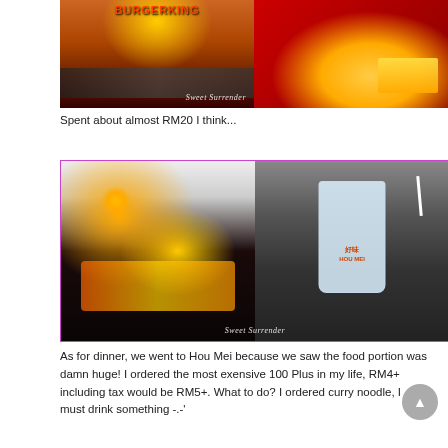[Figure (photo): Two-photo collage of Burger King: left shows exterior/interior of a Burger King restaurant with orange decor and tables, right shows a food tray with burgers and fries on a red background. Watermark reads 'Sweet Surrender'.]
Spent about almost RM20 I think...
[Figure (photo): Two-photo collage of Hou Mei restaurant: left shows restaurant interior with warm lights and food court seating, right shows a clear drink cup with 'Hou Mei' branding and a straw on a dark table. Watermark reads 'Sweet Surrender'.]
As for dinner, we went to Hou Mei because we saw the food portion was damn huge! I ordered the most exensive 100 Plus in my life, RM4+ including tax would be RM5+. What to do? I ordered curry noodle, I must drink something -.-'